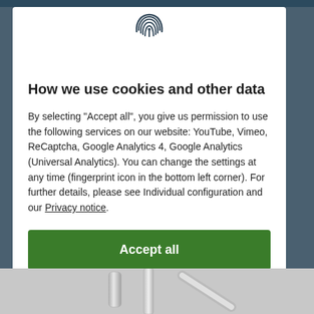[Figure (logo): Fingerprint icon at top center of cookie consent modal]
How we use cookies and other data
By selecting "Accept all", you give us permission to use the following services on our website: YouTube, Vimeo, ReCaptcha, Google Analytics 4, Google Analytics (Universal Analytics). You can change the settings at any time (fingerprint icon in the bottom left corner). For further details, please see Individual configuration and our Privacy notice.
Accept all
Close
Configuration
[Figure (photo): Bottom portion of a product image (metallic fixture/hardware) on grey background]